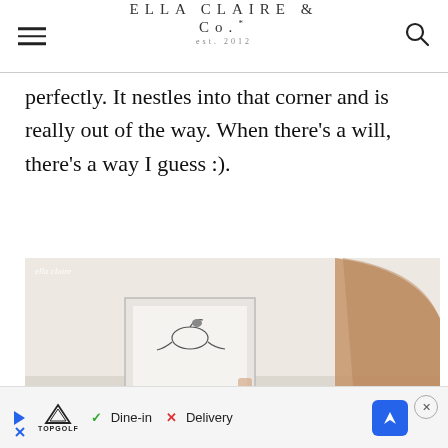ELLA CLAIRE & Co. est. 2012
perfectly. It nestles into that corner and is really out of the way. When there's a will, there's a way I guess :).
[Figure (photo): Interior bedroom corner scene showing a framed artwork on the wall and a rounded wooden headboard, with a watermark reading 'ella claire']
Topgolf ad: Dine-in | Delivery